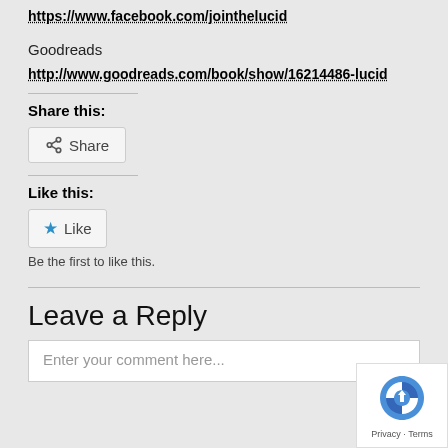https://www.facebook.com/jointhelucid
Goodreads
http://www.goodreads.com/book/show/16214486-lucid
Share this:
[Figure (other): Share button with share icon]
Like this:
[Figure (other): Like button with star icon]
Be the first to like this.
Leave a Reply
Enter your comment here...